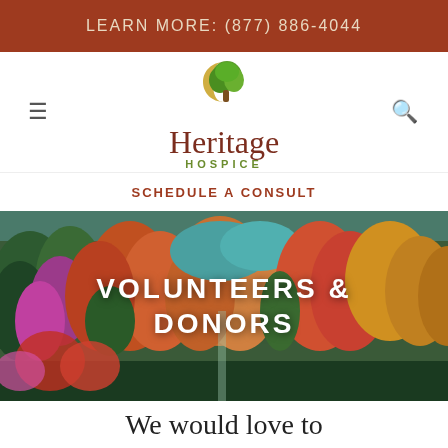LEARN MORE: (877) 886-4044
[Figure (logo): Heritage Hospice logo with tree inside crescent moon circle, green leaves on brown trunk, gold crescent]
SCHEDULE A CONSULT
[Figure (photo): Aerial view of autumn forest with colorful foliage in reds, oranges, greens and purples]
VOLUNTEERS & DONORS
We would love to